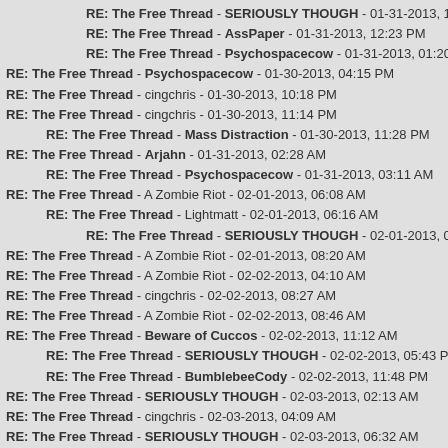RE: The Free Thread - SERIOUSLY THOUGH - 01-31-2013, 12:12 PM
RE: The Free Thread - AssPaper - 01-31-2013, 12:23 PM
RE: The Free Thread - Psychospacecow - 01-31-2013, 01:20 PM
RE: The Free Thread - Psychospacecow - 01-30-2013, 04:15 PM
RE: The Free Thread - cingchris - 01-30-2013, 10:18 PM
RE: The Free Thread - cingchris - 01-30-2013, 11:14 PM
RE: The Free Thread - Mass Distraction - 01-30-2013, 11:28 PM
RE: The Free Thread - Arjahn - 01-31-2013, 02:28 AM
RE: The Free Thread - Psychospacecow - 01-31-2013, 03:11 AM
RE: The Free Thread - A Zombie Riot - 02-01-2013, 06:08 AM
RE: The Free Thread - Lightmatt - 02-01-2013, 06:16 AM
RE: The Free Thread - SERIOUSLY THOUGH - 02-01-2013, 06:55 AM
RE: The Free Thread - A Zombie Riot - 02-01-2013, 08:20 AM
RE: The Free Thread - A Zombie Riot - 02-02-2013, 04:10 AM
RE: The Free Thread - cingchris - 02-02-2013, 08:27 AM
RE: The Free Thread - A Zombie Riot - 02-02-2013, 08:46 AM
RE: The Free Thread - Beware of Cuccos - 02-02-2013, 11:12 AM
RE: The Free Thread - SERIOUSLY THOUGH - 02-02-2013, 05:43 PM
RE: The Free Thread - BumblebeeCody - 02-02-2013, 11:48 PM
RE: The Free Thread - SERIOUSLY THOUGH - 02-03-2013, 02:13 AM
RE: The Free Thread - cingchris - 02-03-2013, 04:09 AM
RE: The Free Thread - SERIOUSLY THOUGH - 02-03-2013, 06:32 AM
RE: The Free Thread - cingchris - 02-03-2013, 07:18 AM
RE: The Free Thread - SERIOUSLY THOUGH - 02-03-2013, 07:54 AM
RE: The Free Thread - cingchris - 02-03-2013, 08:04 AM